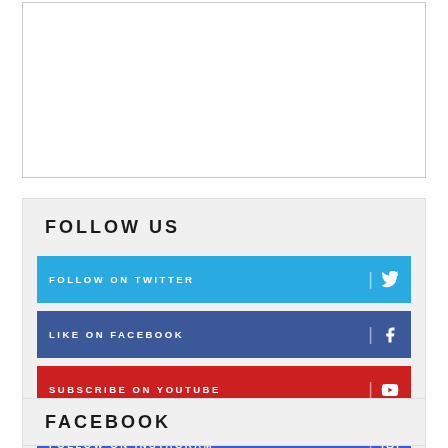[Figure (other): Empty white box with border at top of page]
FOLLOW US
FOLLOW ON TWITTER
LIKE ON FACEBOOK
SUBSCRIBE ON YOUTUBE
FOLLOW ON INSTAGRAM
FACEBOOK